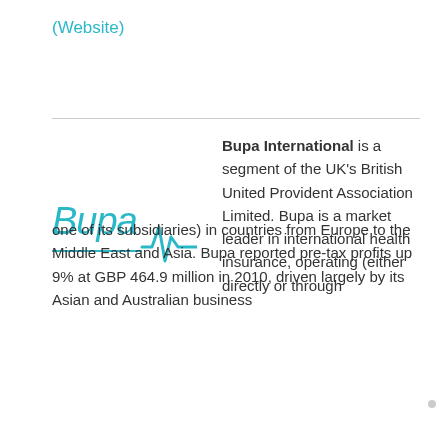(Website)
[Figure (logo): Bupa logo with teal wordmark and heartbeat/pulse line graphic]
Bupa International is a segment of the UK's British United Provident Association Limited. Bupa is a market leader in international health insurance, operating (either directly or through one of its subsidiaries) in countries from Europe to the Middle East and Asia. Bupa reported pre-tax profits up 9% at GBP 464.9 million in 2010, driven largely by its Asian and Australian business